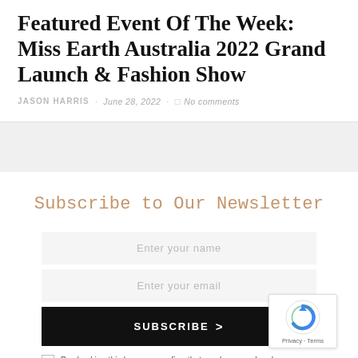Featured Event Of The Week: Miss Earth Australia 2022 Grand Launch & Fashion Show
JASON HARRIS · June 28, 2022 · No comments
Subscribe to Our Newsletter
Enter your name
Enter your email
SUBSCRIBE >
By checking this box, you confirm that you have read and are agreeing to our terms of